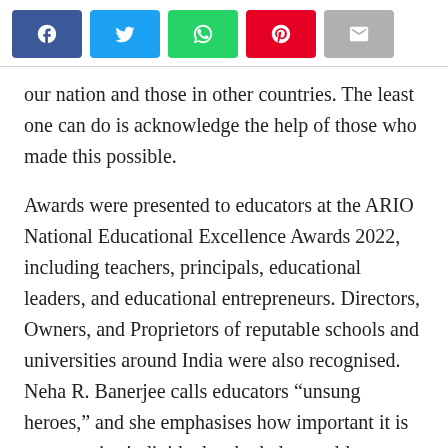[Figure (other): Social media share buttons: Facebook (blue), Twitter (light blue), WhatsApp (green), Pinterest (red), Email (gray)]
our nation and those in other countries. The least one can do is acknowledge the help of those who made this possible.
Awards were presented to educators at the ARIO National Educational Excellence Awards 2022, including teachers, principals, educational leaders, and educational entrepreneurs. Directors, Owners, and Proprietors of reputable schools and universities around India were also recognised. Neha R. Banerjee calls educators “unsung heroes,” and she emphasises how important it is to recognise individuals who help mould young people’s brains and make significant contributions to the expansion and